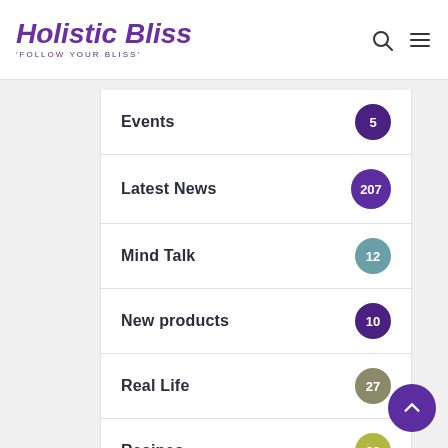Holistic Bliss — 'FOLLOW YOUR BLISS'
Events 5
Latest News 207
Mind Talk 12
New products 10
Real Life 27
Recipes 39
Uncategorised
Vanessa's Blog 40
Very Important Contributors 229